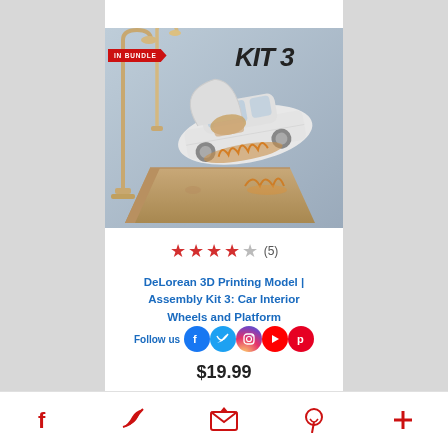[Figure (photo): 3D printed DeLorean car model with gull-wing doors open, displayed on a brown ramp platform with street lamp accessories, blue-gray background. Text 'KIT 3' in top right. Badge 'IN BUNDLE' in red top-left corner.]
★★★★☆ (5)
DeLorean 3D Printing Model | Assembly Kit 3: Car Interior Wheels and Platform
Follow us
$19.99
Facebook  Twitter  Email  Pinterest  More